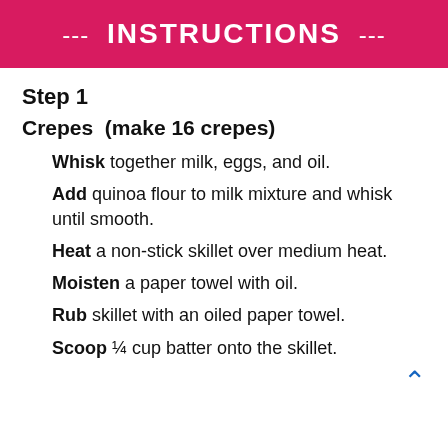--- INSTRUCTIONS ---
Step 1
Crepes  (make 16 crepes)
Whisk together milk, eggs, and oil.
Add quinoa flour to milk mixture and whisk until smooth.
Heat a non-stick skillet over medium heat.
Moisten a paper towel with oil.
Rub skillet with an oiled paper towel.
Scoop ¼ cup batter onto the skillet.